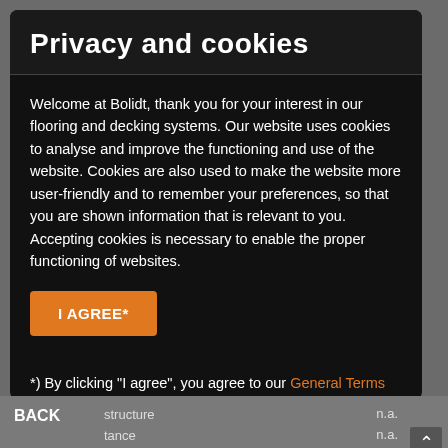Privacy and cookies
Welcome at Bolidt, thank you for your interest in our flooring and decking systems. Our website uses cookies to analyse and improve the functioning and use of the website. Cookies are also used to make the website more user-friendly and to remember your preferences, so that you are shown information that is relevant to you. Accepting cookies is necessary to enable the proper functioning of websites.
I AGREE*
*) By clicking "I agree", you agree to our General Terms and Conditions, our Disclaimer and our Privacy and Cookie Statement.
BACK | structure | n.a. | tance | n.a. | Discharge time | n.a.